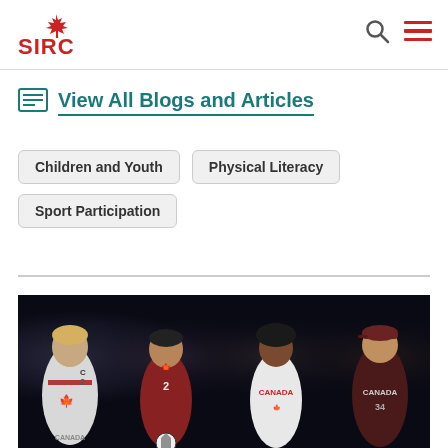SIRC
View All Blogs and Articles
Children and Youth
Physical Literacy
Sport Participation
[Figure (photo): Four Canadian athletes in national team uniforms standing against a dark background: a female hockey player in white Team Canada jersey, a male soccer player in red jersey holding a ball, a female athlete in white Canada shirt, and a male baseball player in dark Canada uniform.]